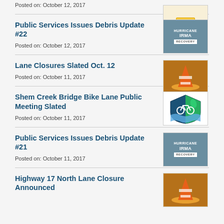Posted on: October 12, 2017
[Figure (illustration): Notice sticky note thumbnail]
Public Services Issues Debris Update #22 — Posted on: October 12, 2017
[Figure (illustration): Hurricane Irma Recovery thumbnail]
Lane Closures Slated Oct. 12 — Posted on: October 11, 2017
[Figure (photo): Orange traffic cone close-up thumbnail]
Shem Creek Bridge Bike Lane Public Meeting Slated — Posted on: October 11, 2017
[Figure (logo): Bike lane shield logo thumbnail]
Public Services Issues Debris Update #21 — Posted on: October 11, 2017
[Figure (illustration): Hurricane Irma Recovery thumbnail]
Highway 17 North Lane Closure Announced